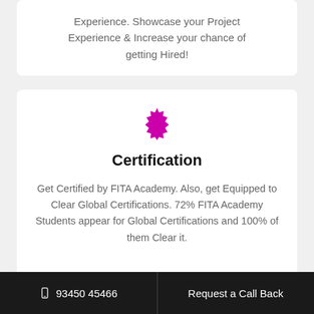Experience. Showcase your Project Experience & Increase your chance of getting Hired!
[Figure (illustration): Magenta/pink star burst / seal badge icon]
Certification
Get Certified by FITA Academy. Also, get Equipped to Clear Global Certifications. 72% FITA Academy Students appear for Global Certifications and 100% of them Clear it.
93450 45466   Request a Call Back